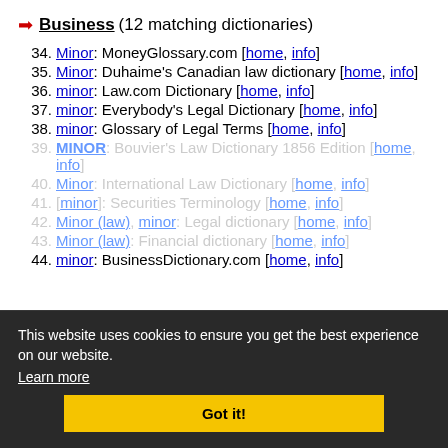➔ Business (12 matching dictionaries)
34. Minor: MoneyGlossary.com [home, info]
35. Minor: Duhaime's Canadian law dictionary [home, info]
36. minor: Law.com Dictionary [home, info]
37. minor: Everybody's Legal Dictionary [home, info]
38. minor: Glossary of Legal Terms [home, info]
39. MINOR: Bouvier's Law Dictionary 1856 Edition [home, info]
40. Minor: International Law Dictionary [home, info]
41. [minor]: Securities Terminology [home, info]
42. Minor (law), minor: Legal dictionary [home, info]
43. Minor (law): Financial dictionary [home, info]
44. minor: BusinessDictionary.com [home, info]